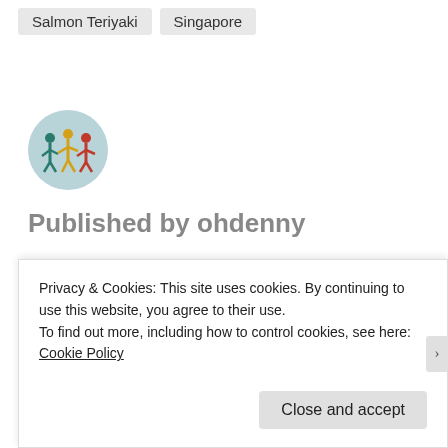Salmon Teriyaki
Singapore
[Figure (photo): Circular avatar image showing group of people/runners in colorful attire]
Published by ohdenny
View all posts by ohdenny
PREVIOUS: Hoe and seed Prom Somewhere (Salmon Teriyaki)
Privacy & Cookies: This site uses cookies. By continuing to use this website, you agree to their use.
To find out more, including how to control cookies, see here: Cookie Policy
Close and accept